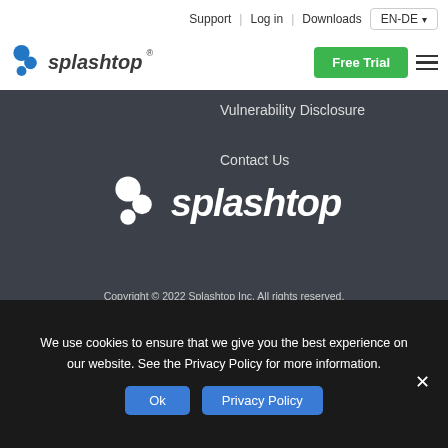Support | Log in | Downloads | EN-DE | Free Trial
[Figure (logo): Splashtop logo with blue splash icon and splashtop text in header]
Vulnerability Disclosure
Contact Us
[Figure (logo): Splashtop white logo with splash icon in footer dark section]
Copyright © 2022 Splashtop Inc. All rights reserved.
All $ prices shown in USD.
Terms of Use | Privacy Policy
[Figure (illustration): Social media icons: Facebook, LinkedIn, YouTube, Twitter, Instagram]
We use cookies to ensure that we give you the best experience on our website. See the Privacy Policy for more information.
Ok | Privacy Policy